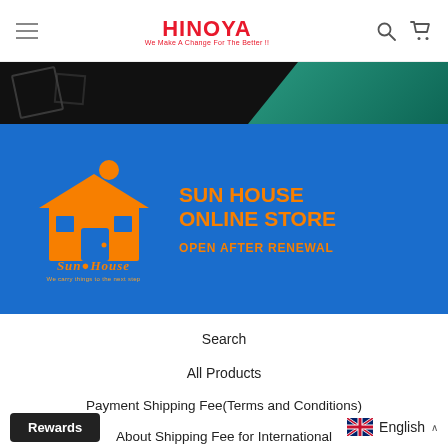HINOYA - We Make A Change For The Better!!
[Figure (photo): Dark banner strip with black background and teal/green decorative elements on the right side]
[Figure (illustration): Sun House Online Store banner on blue background with orange house logo and text: SUN HOUSE ONLINE STORE, OPEN AFTER RENEWAL]
Search
All Products
Payment  Shipping Fee(Terms and Conditions)
About Shipping Fee for International
How to measure
Rewards   English